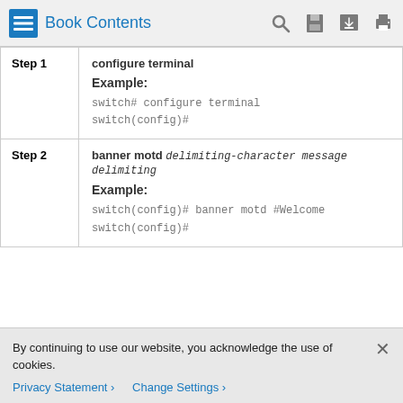Book Contents
| Step | Command |
| --- | --- |
| Step 1 | configure terminal
Example:
switch# configure terminal
switch(config)# |
| Step 2 | banner motd delimiting-character message delimiting
Example:
switch(config)# banner motd #Welcome
switch(config)# |
By continuing to use our website, you acknowledge the use of cookies.
Privacy Statement > Change Settings >